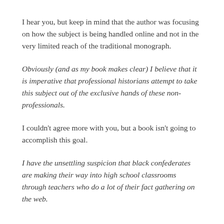I hear you, but keep in mind that the author was focusing on how the subject is being handled online and not in the very limited reach of the traditional monograph.
Obviously (and as my book makes clear) I believe that it is imperative that professional historians attempt to take this subject out of the exclusive hands of these non-professionals.
I couldn't agree more with you, but a book isn't going to accomplish this goal.
I have the unsettling suspicion that black confederates are making their way into high school classrooms through teachers who do a lot of their fact gathering on the web.